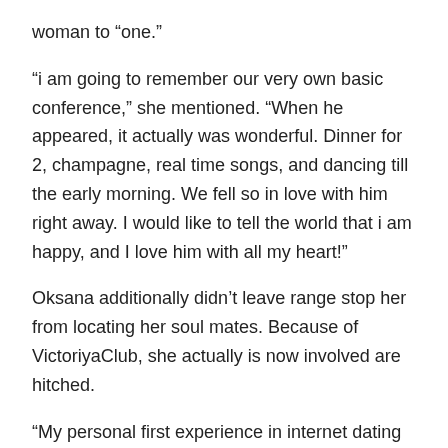woman to “one.”
“i am going to remember our very own basic conference,” she mentioned. “When he appeared, it actually was wonderful. Dinner for 2, champagne, real time songs, and dancing till the early morning. We fell so in love with him right away. I would like to tell the world that i am happy, and I love him with all my heart!”
Oksana additionally didn’t leave range stop her from locating her soul mates. Because of VictoriyaClub, she actually is now involved are hitched.
“My personal first experience in internet dating a foreign man ended up being very strange and also romantic,” Oksana stated. “My basic enchanting meal